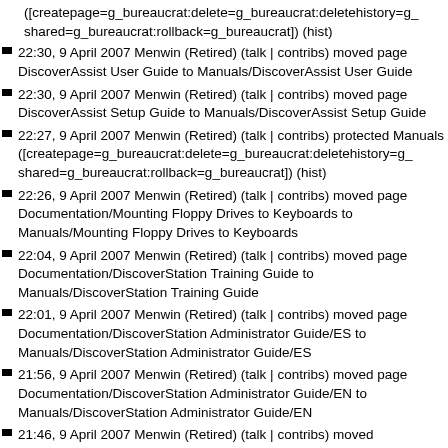([createpage=g_bureaucrat:delete=g_bureaucrat:deletehistory=g_shared=g_bureaucrat:rollback=g_bureaucrat]) (hist)
22:30, 9 April 2007 Menwin (Retired) (talk | contribs) moved page DiscoverAssist User Guide to Manuals/DiscoverAssist User Guide
22:30, 9 April 2007 Menwin (Retired) (talk | contribs) moved page DiscoverAssist Setup Guide to Manuals/DiscoverAssist Setup Guide
22:27, 9 April 2007 Menwin (Retired) (talk | contribs) protected Manuals ([createpage=g_bureaucrat:delete=g_bureaucrat:deletehistory=g_shared=g_bureaucrat:rollback=g_bureaucrat]) (hist)
22:26, 9 April 2007 Menwin (Retired) (talk | contribs) moved page Documentation/Mounting Floppy Drives to Keyboards to Manuals/Mounting Floppy Drives to Keyboards
22:04, 9 April 2007 Menwin (Retired) (talk | contribs) moved page Documentation/DiscoverStation Training Guide to Manuals/DiscoverStation Training Guide
22:01, 9 April 2007 Menwin (Retired) (talk | contribs) moved page Documentation/DiscoverStation Administrator Guide/ES to Manuals/DiscoverStation Administrator Guide/ES
21:56, 9 April 2007 Menwin (Retired) (talk | contribs) moved page Documentation/DiscoverStation Administrator Guide/EN to Manuals/DiscoverStation Administrator Guide/EN
21:46, 9 April 2007 Menwin (Retired) (talk | contribs) moved